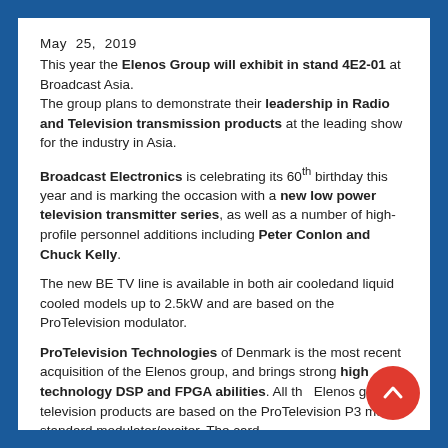May  25,  2019
This year the Elenos Group will exhibit in stand 4E2-01 at Broadcast Asia. The group plans to demonstrate their leadership in Radio and Television transmission products at the leading show for the industry in Asia.
Broadcast Electronics is celebrating its 60th birthday this year and is marking the occasion with a new low power television transmitter series, as well as a number of high-profile personnel additions including Peter Conlon and Chuck Kelly.
The new BE TV line is available in both air cooledand liquid cooled models up to 2.5kW and are based on the ProTelevision modulator.
ProTelevision Technologies of Denmark is the most recent acquisition of the Elenos group, and brings strong high technology DSP and FPGA abilities. All the Elenos group television products are based on the ProTelevision P3 multi-standard modulator/exciter. The card